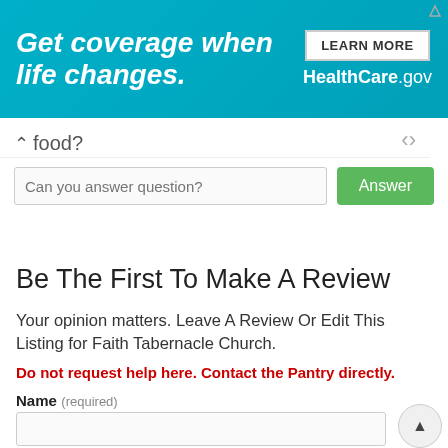[Figure (screenshot): HealthCare.gov advertisement banner: teal background with italic bold white text 'Get coverage when life changes.' and a 'LEARN MORE' button with 'HealthCare.gov' branding on the right.]
food?
Can you answer question?
Answer
Be The First To Make A Review
Your opinion matters. Leave A Review Or Edit This Listing for Faith Tabernacle Church.
Do not request help here. Contact the Pantry directly.
Name (required)